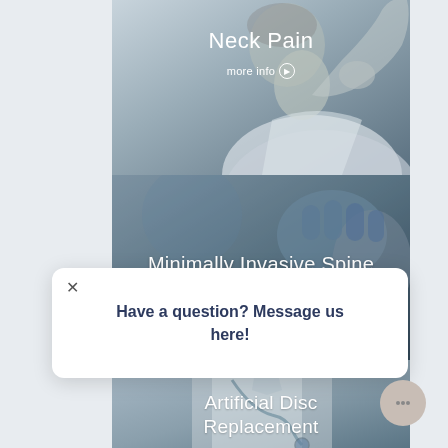[Figure (screenshot): Mobile app screenshot showing medical conditions with image cards. Card 1: Neck Pain with 'more info' link. Card 2: Minimally Invasive Spine Surgery with 'more info' link. Card 3: Artificial Disc Replacement partially visible. A chat popup overlay reads 'Have a question? Message us here!' with a close (X) button. A chat bubble icon button is in the bottom right.]
Neck Pain
more info
Minimally Invasive Spine Surgery
more info
Have a question? Message us here!
Artificial Disc Replacement